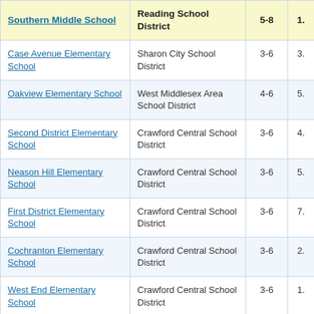| School Name | District | Grades | Col4 |
| --- | --- | --- | --- |
| Southern Middle School | Reading School District | 5-8 | 1. |
| Case Avenue Elementary School | Sharon City School District | 3-6 | 3. |
| Oakview Elementary School | West Middlesex Area School District | 4-6 | 5. |
| Second District Elementary School | Crawford Central School District | 3-6 | 4. |
| Neason Hill Elementary School | Crawford Central School District | 3-6 | 5. |
| First District Elementary School | Crawford Central School District | 3-6 | 7. |
| Cochranton Elementary School | Crawford Central School District | 3-6 | 2. |
| West End Elementary School | Crawford Central School District | 3-6 | 1. |